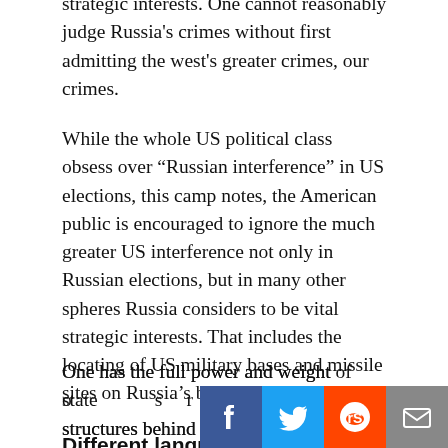strategic interests. One cannot reasonably judge Russia's crimes without first admitting the west's greater crimes, our crimes.
While the whole US political class obsess over “Russian interference” in US elections, this camp notes, the American public is encouraged to ignore the much greater US interference not only in Russian elections, but in many other spheres Russia considers to be vital strategic interests. That includes the locating of US military bases and missile sites on Russia’s borders.
Different languages
Two camps, two entirely different languages and narratives.
These camps may be divided, but it would seriously misguided to imagine they are equal.
One has the full power and weight of state structures behind it. The politicians speak its language,